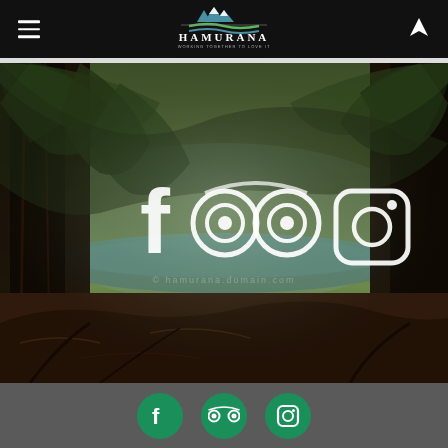Hamurana - Navigation header with hamburger menu and location icon
[Figure (photo): Forest scene with tall dark trees, lush green foliage, and a misty blue-green river or lake visible in the background. Social media icons (Facebook, TripAdvisor, Instagram) overlaid in white in the center of the image, with faint watermark text.]
Footer with Facebook, TripAdvisor, and Instagram icons in green circles on dark grey background